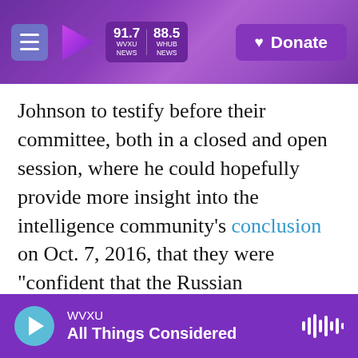WVXU 91.7 WVXU NEWS | 88.5 WHUB NEWS | Donate
Johnson to testify before their committee, both in a closed and open session, where he could hopefully provide more insight into the intelligence community's conclusion on Oct. 7, 2016, that they were "confident that the Russian government directed the recent compromises of emails from U.S. persons and institutions, including from U.S. political organizations."
The two said the committee plans additional open hearings soon. Their investigation is just one of at least three ongoing into Russian meddling and potential ties between the Trump associates and
WVXU | All Things Considered